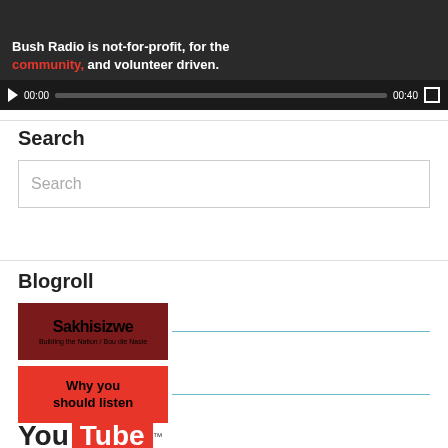[Figure (screenshot): Video player showing 'Bush Radio is not-for-profit, for the community, and volunteer driven.' with play button, progress bar showing 00:00 / 00:40, and fullscreen button]
Search
[Figure (screenshot): Search input box with placeholder text 'Search']
Blogroll
[Figure (logo): Sakhisizwe logo - dark red background with text 'Sakhisizwe Building the Nation / Bou die Nasie']
[Figure (logo): Why you should listen - red background with bold black text]
[Figure (logo): YouTube logo partial - 'You' text and red box with 'Tube' text and TM mark]